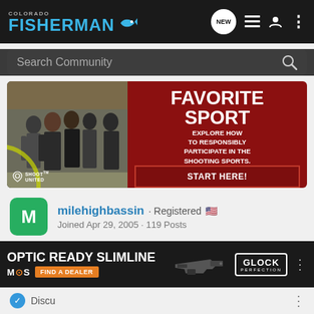COLORADO FISHERMAN
Search Community
[Figure (photo): Shoot United advertisement showing group of people at shooting range on left, dark red background on right with text: FAVORITE SPORT - EXPLORE HOW TO RESPONSIBLY PARTICIPATE IN THE SHOOTING SPORTS. START HERE!]
milehighbassin · Registered 🇺🇸 Joined Apr 29, 2005 · 119 Posts
[Figure (photo): Glock advertisement: OPTIC READY SLIMLINE - MOS - FIND A DEALER - Glock Perfection logo - image of Glock pistol]